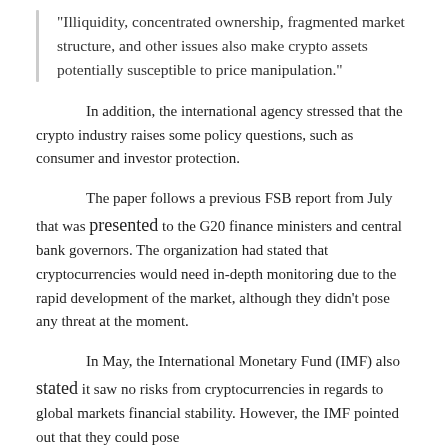“Illiquidity, concentrated ownership, fragmented market structure, and other issues also make crypto assets potentially susceptible to price manipulation.”
In addition, the international agency stressed that the crypto industry raises some policy questions, such as consumer and investor protection.
The paper follows a previous FSB report from July that was presented to the G20 finance ministers and central bank governors. The organization had stated that cryptocurrencies would need in-depth monitoring due to the rapid development of the market, although they didn’t pose any threat at the moment.
In May, the International Monetary Fund (IMF) also stated it saw no risks from cryptocurrencies in regards to global markets financial stability. However, the IMF pointed out that they could pose